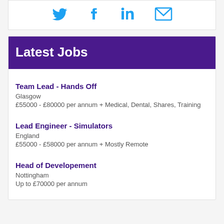[Figure (other): Social media icons row: Twitter bird icon, Facebook f icon, LinkedIn in icon, Email envelope icon — all in teal/blue color]
Latest Jobs
Team Lead - Hands Off
Glasgow
£55000 - £80000 per annum + Medical, Dental, Shares, Training
Lead Engineer - Simulators
England
£55000 - £58000 per annum + Mostly Remote
Head of Developement
Nottingham
Up to £70000 per annum